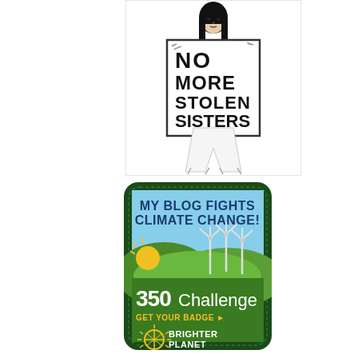[Figure (illustration): Black and white line drawing of a woman with long dark hair holding a protest sign that reads 'NO MORE STOLEN SISTERS' in bold handwritten letters. The woman is wearing a long white dress or skirt.]
[Figure (illustration): A embroidered-style badge/patch with dark green border. Blue sky background at top with text 'MY BLOG FIGHTS CLIMATE CHANGE!' in bold dark blue. Green rolling hills with wind turbines and a yellow sun rising on the left. Large white text '350 Challenge' with orange text 'GET YOUR BADGE ►' below. Bottom section shows a decorative sun/globe icon and 'BRIGHTER PLANET' text on green background.]